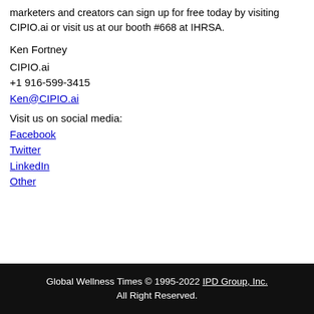marketers and creators can sign up for free today by visiting CIPIO.ai or visit us at our booth #668 at IHRSA.
Ken Fortney
CIPIO.ai
+1 916-599-3415
Ken@CIPIO.ai
Visit us on social media:
Facebook
Twitter
LinkedIn
Other
Global Wellness Times © 1995-2022 IPD Group, Inc. All Right Reserved.